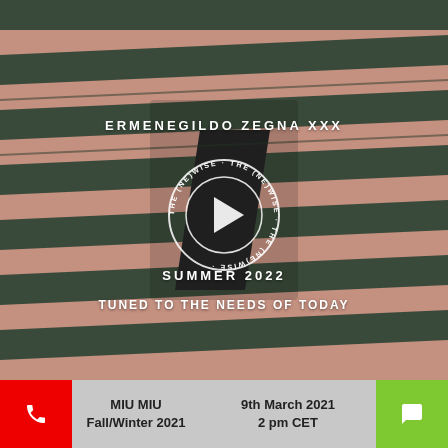[Figure (screenshot): Fashion show video thumbnail/screenshot showing an architectural building exterior with horizontal dark green metal louvers over salmon/terracotta brick, with overlaid white text reading 'ERMENEGILDO ZEGNA XXX', a circular play button logo with 'THE (NE)WISE' text, 'SUMMER 2022', and 'TUNED TO THE NEEDS OF TODAY']
MIU MIU Fall/Winter 2021
9th March 2021 2 pm CET